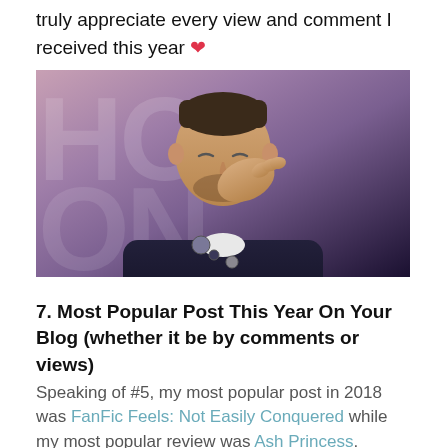truly appreciate every view and comment I received this year ❤
[Figure (photo): A man in a dark cardigan with a pin/badge, eyes closed, hand raised near his mouth as if blowing a kiss, against a blurred purple/pink background with large letters visible.]
7. Most Popular Post This Year On Your Blog (whether it be by comments or views)
Speaking of #5, my most popular post in 2018 was FanFic Feels: Not Easily Conquered while my most popular review was Ash Princess.
8. Post You Wished Got A Little More Love?